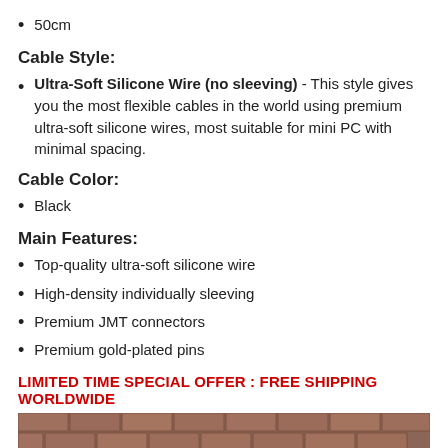50cm
Cable Style:
Ultra-Soft Silicone Wire (no sleeving) - This style gives you the most flexible cables in the world using premium ultra-soft silicone wires, most suitable for mini PC with minimal spacing.
Cable Color:
Black
Main Features:
Top-quality ultra-soft silicone wire
High-density individually sleeving
Premium JMT connectors
Premium gold-plated pins
LIMITED TIME SPECIAL OFFER : FREE SHIPPING WORLDWIDE
[Figure (photo): Photo of a rack-mounted audio/electronic device with LED lights visible through a vented front panel, mounted on a brick wall background]